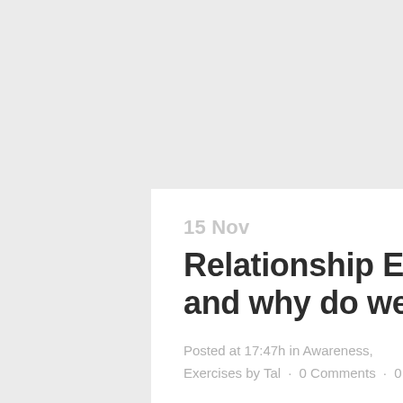15 Nov
Relationship Exercises, what are they and why do we need them?
Posted at 17:47h in Awareness, Exercises by Tal · 0 Comments · 0 Likes